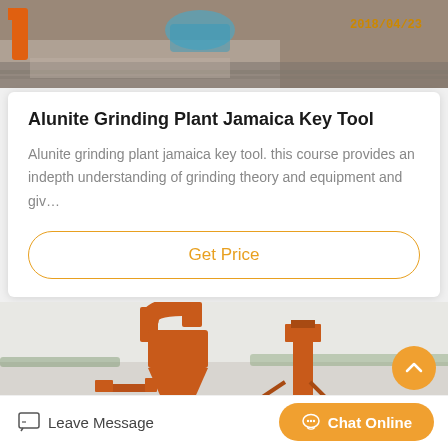[Figure (photo): Construction site photo showing machinery/equipment on railroad tracks, date watermark 2018/04/23 in orange/yellow]
Alunite Grinding Plant Jamaica Key Tool
Alunite grinding plant jamaica key tool. this course provides an indepth understanding of grinding theory and equipment and giv…
Get Price
[Figure (photo): Industrial grinding plant equipment with orange cyclone separator and tower machinery]
Leave Message
Chat Online